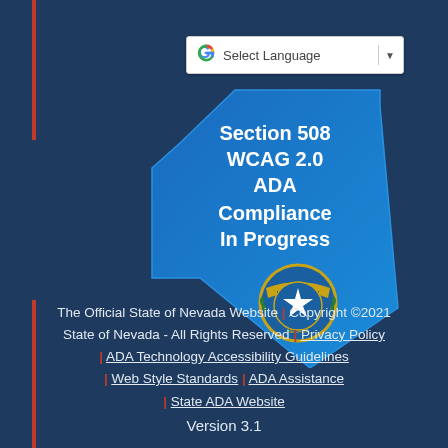[Figure (screenshot): Google Translate Select Language widget/bar with Google G logo, text 'Select Language', vertical divider and dropdown arrow]
[Figure (illustration): Nevada state shape in blue with text 'Section 508 WCAG 2.0 ADA Compliance In Progress' and Nevada state seal at bottom]
The Official State of Nevada Website | Copyright ©2021 State of Nevada - All Rights Reserved | Privacy Policy | ADA Technology Accessibility Guidelines | Web Style Standards | ADA Assistance | State ADA Website
Version 3.1